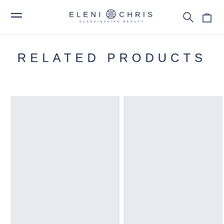ELENI CHRIS SCANDINAVIAN BEAUTY — navigation header with logo, hamburger menu, search and cart icons
RELATED PRODUCTS
[Figure (photo): Light blue-grey placeholder rectangle for a product image, first of two related products visible]
[Figure (photo): Light blue-grey placeholder rectangle for a product image, second of two related products visible, partially cropped]